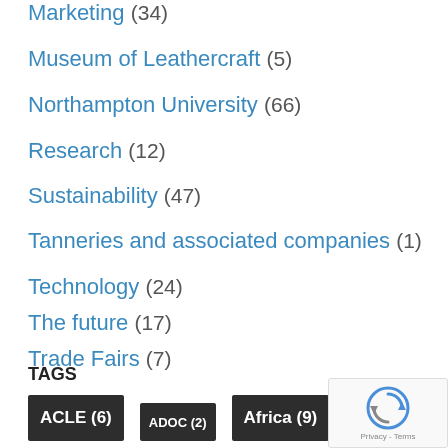Marketing (34)
Museum of Leathercraft (5)
Northampton University (66)
Research (12)
Sustainability (47)
Tanneries and associated companies (1)
Technology (24)
The future (17)
Trade Fairs (7)
Uncategorised (2)
TAGS
ACLE (6) ADOC (2) Africa (9)